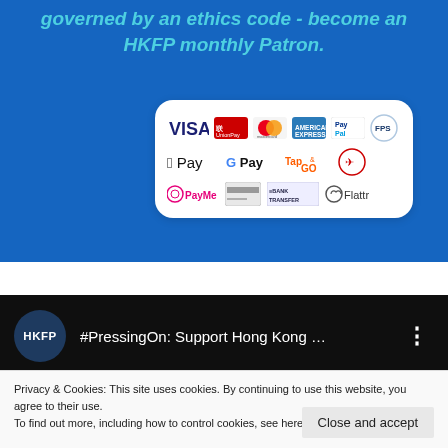governed by an ethics code - become an HKFP monthly Patron.
[Figure (infographic): Payment methods logos: VISA, UnionPay, Mastercard, American Express, PayPal, FPS, Apple Pay, Google Pay, Tap&Go, (Hong Kong airline icon), PayMe, bank card, Bank Transfer, Flattr]
[Figure (screenshot): YouTube video bar showing HKFP logo circle with text '#PressingOn: Support Hong Kong ...' and three-dot menu icon on black background]
Privacy & Cookies: This site uses cookies. By continuing to use this website, you agree to their use.
To find out more, including how to control cookies, see here: Cookie Policy
Close and accept